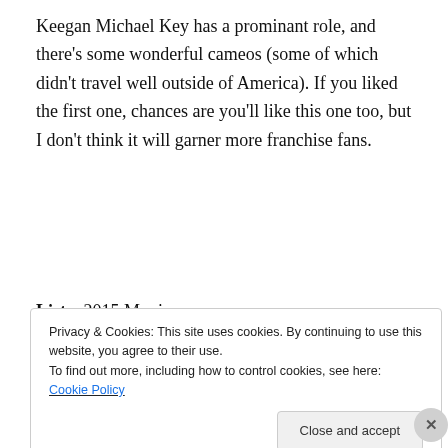Keegan Michael Key has a prominant role, and there’s some wonderful cameos (some of which didn’t travel well outside of America). If you liked the first one, chances are you’ll like this one too, but I don’t think it will garner more franchise fans.
Lists: 2015 Movies
Choose Life 6/10
[Figure (screenshot): Jetpack advertisement banner with green background showing Jetpack logo and 'Back up your site' button]
REPORT THIS AD
Privacy & Cookies: This site uses cookies. By continuing to use this website, you agree to their use.
To find out more, including how to control cookies, see here: Cookie Policy
Close and accept